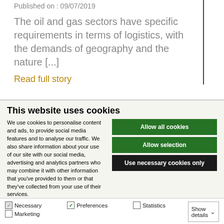Published on : 09/07/2019
The oil and gas sectors have specific requirements in terms of logistics, with the demands of geography and the nature [...]
Read full story
This website uses cookies
We use cookies to personalise content and ads, to provide social media features and to analyse our traffic. We also share information about your use of our site with our social media, advertising and analytics partners who may combine it with other information that you've provided to them or that they've collected from your use of their services.
Allow all cookies
Allow selection
Use necessary cookies only
Necessary  Preferences  Statistics  Marketing  Show details